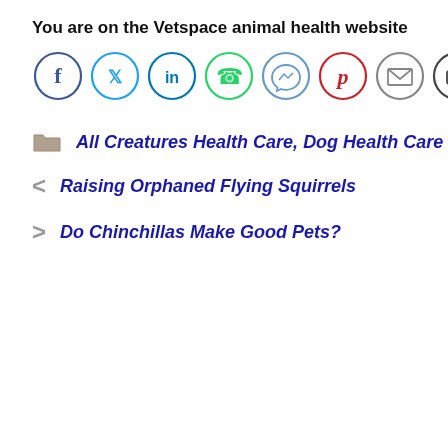You are on the Vetspace animal health website
[Figure (infographic): Row of 8 social sharing icon circles: Facebook (blue outline), Twitter (cyan outline), LinkedIn (blue outline), WhatsApp (green outline), Messenger (light blue outline), Pinterest (red outline), Email (gray outline), Print (dark gray outline)]
All Creatures Health Care, Dog Health Care
Raising Orphaned Flying Squirrels
Do Chinchillas Make Good Pets?